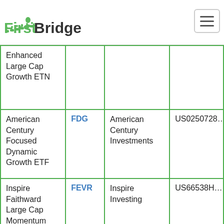[Figure (logo): FirstBridge logo with green and dark text and chain/bridge icon]
| Fund Name | Ticker | Issuer | ISIN |
| --- | --- | --- | --- |
| Enhanced Large Cap Growth ETN |  |  |  |
| American Century Focused Dynamic Growth ETF | FDG | American Century Investments | US0250728... |
| Inspire Faithward Large Cap Momentum ESG | FEVR | Inspire Investing | US66538H... |
| Innovator IBD ... | FFTY | Innovator | US45782C... |